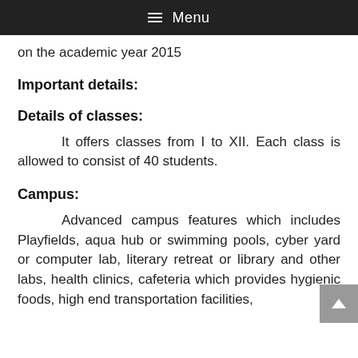≡ Menu
on the academic year 2015
Important details:
Details of classes:
It offers classes from I to XII. Each class is allowed to consist of 40 students.
Campus:
Advanced campus features which includes Playfields, aqua hub or swimming pools, cyber yard or computer lab, literary retreat or library and other labs, health clinics, cafeteria which provides hygienic foods, high end transportation facilities,